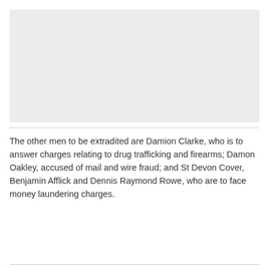[Figure (photo): Placeholder image block (light gray rectangle)]
The other men to be extradited are Damion Clarke, who is to answer charges relating to drug trafficking and firearms; Damon Oakley, accused of mail and wire fraud; and St Devon Cover, Benjamin Afflick and Dennis Raymond Rowe, who are to face money laundering charges.